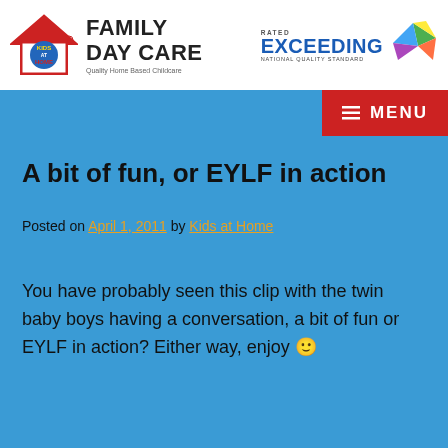[Figure (logo): Kids at Home Family Day Care logo with house icon and text 'FAMILY DAY CARE Quality Home Based Childcare']
[Figure (logo): Rated EXCEEDING National Quality Standard logo with colorful star/kite shape]
A bit of fun, or EYLF in action
Posted on April 1, 2011 by Kids at Home
You have probably seen this clip with the twin baby boys having a conversation, a bit of fun or EYLF in action? Either way, enjoy 🙂